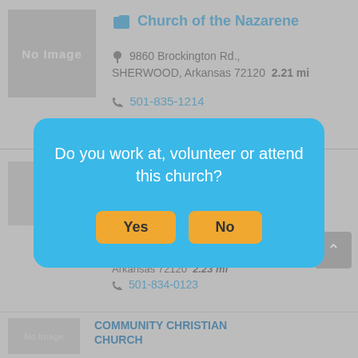[Figure (screenshot): No Image placeholder box for first church listing]
Church of the Nazarene
9860 Brockington Rd., SHERWOOD, Arkansas 72120  2.21 mi
501-835-1214
brockrdnaz@sbcglobal.net
[Figure (screenshot): No Image placeholder box for second church listing]
LITTLE ROCK AR, N Little Rock, Arkansas 72120  2.23 mi
501-834-0123
[Figure (screenshot): No Image placeholder box for third church listing]
COMMUNITY CHRISTIAN CHURCH
Do you work at, volunteer or attend this church?
Yes
No